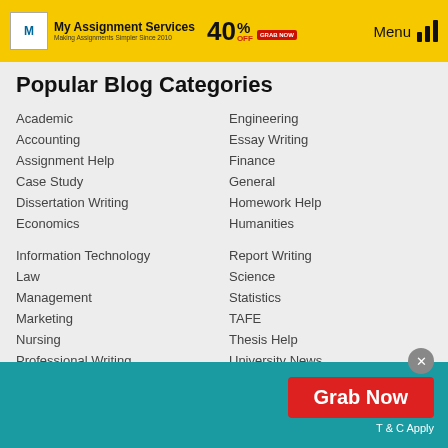My Assignment Services — Making Assignments Simpler Since 2010 | 40% OFF GRAB NOW | Menu
Popular Blog Categories
Academic
Accounting
Assignment Help
Case Study
Dissertation Writing
Economics
Information Technology
Law
Management
Marketing
Nursing
Professional Writing
Engineering
Essay Writing
Finance
General
Homework Help
Humanities
Report Writing
Science
Statistics
TAFE
Thesis Help
University News
Grab Now
T & C Apply